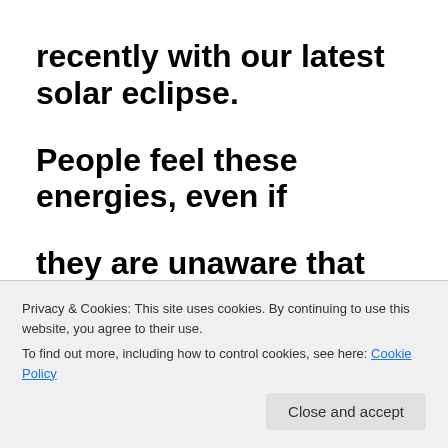recently with our latest solar eclipse.
People feel these energies, even if they are unaware that they do.
Sleeplessness, headaches, body
aches, feelings of disorientation, and
Privacy & Cookies: This site uses cookies. By continuing to use this website, you agree to their use. To find out more, including how to control cookies, see here: Cookie Policy
Close and accept